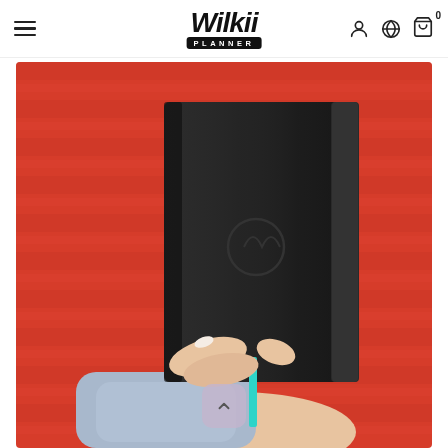Wilkii Planner — navigation header with hamburger menu, logo, account icon, globe icon, and cart (0)
[Figure (photo): A hand holding a black leather-bound planner/notebook against a red corrugated metal wall background. The planner has a black elastic band closure and shows an embossed logo on the cover. A teal ribbon bookmark is visible at the bottom. The person wears a light blue denim jacket sleeve.]